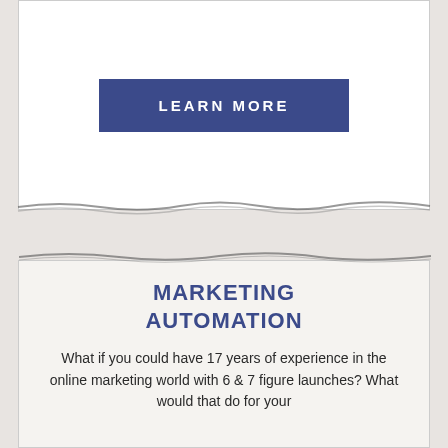[Figure (other): Blue button with text LEARN MORE on white card background]
MARKETING AUTOMATION
What if you could have 17 years of experience in the online marketing world with 6 & 7 figure launches? What would that do for your